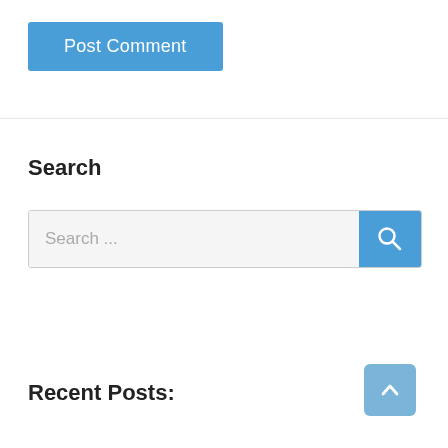[Figure (other): Post Comment button — blue rounded rectangle with white text]
Search
[Figure (other): Search bar with text field showing 'Search ...' placeholder and blue search button with magnifying glass icon]
Recent Posts:
[Figure (other): Back to top button — blue rounded square with upward chevron arrow]